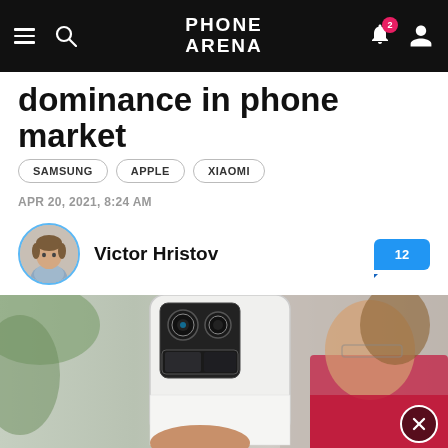PhoneArena — navigation bar with hamburger, search, logo, notification badge (2), user icon
dominance in phone market
SAMSUNG
APPLE
XIAOMI
APR 20, 2021, 8:24 AM
Victor Hristov
[Figure (photo): Man holding up a white Xiaomi smartphone showing the large camera module, photographed outdoors. Close-button overlay in bottom right.]